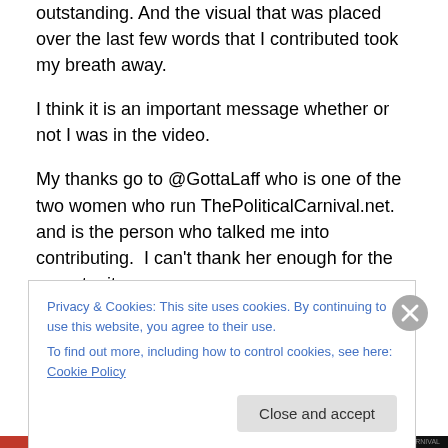outstanding. And the visual that was placed over the last few words that I contributed took my breath away.
I think it is an important message whether or not I was in the video.
My thanks go to @GottaLaff who is one of the two women who run ThePoliticalCarnival.net. and is the person who talked me into contributing.  I can't thank her enough for the opportunity.
You should check out their site.  Bookmark it.  Go to it
Privacy & Cookies: This site uses cookies. By continuing to use this website, you agree to their use.
To find out more, including how to control cookies, see here: Cookie Policy
Close and accept